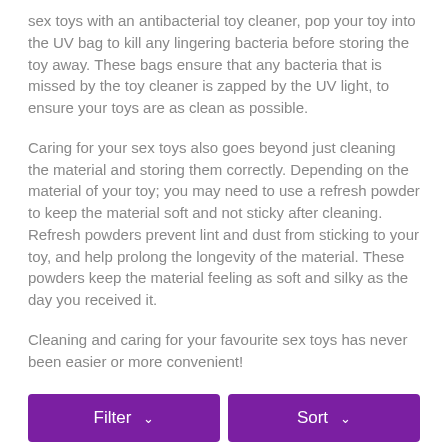sex toys with an antibacterial toy cleaner, pop your toy into the UV bag to kill any lingering bacteria before storing the toy away. These bags ensure that any bacteria that is missed by the toy cleaner is zapped by the UV light, to ensure your toys are as clean as possible.
Caring for your sex toys also goes beyond just cleaning the material and storing them correctly. Depending on the material of your toy; you may need to use a refresh powder to keep the material soft and not sticky after cleaning. Refresh powders prevent lint and dust from sticking to your toy, and help prolong the longevity of the material. These powders keep the material feeling as soft and silky as the day you received it.
Cleaning and caring for your favourite sex toys has never been easier or more convenient!
Filter ∨
Sort ∨
Extras Categories ∨